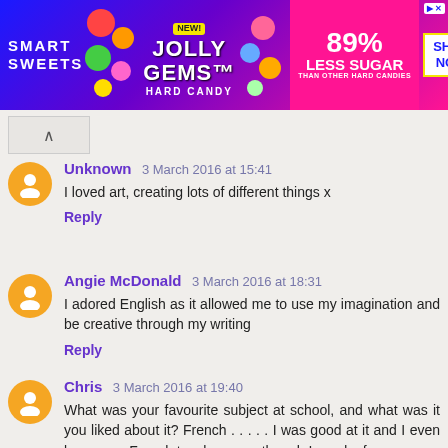[Figure (photo): SmartSweets Jolly Gems Hard Candy advertisement banner. Blue/purple/pink gradient background. Text reads: SMART SWEETS, NEW!, JOLLY GEMS HARD CANDY, 89% LESS SUGAR THAN OTHER HARD CANDIES, SHOP NOW.]
Unknown 3 March 2016 at 15:41
I loved art, creating lots of different things x
Reply
Angie McDonald 3 March 2016 at 18:31
I adored English as it allowed me to use my imagination and be creative through my writing
Reply
Chris 3 March 2016 at 19:40
What was your favourite subject at school, and what was it you liked about it? French . . . . . I was good at it and I even became a French teacher even though I am deaf
Reply